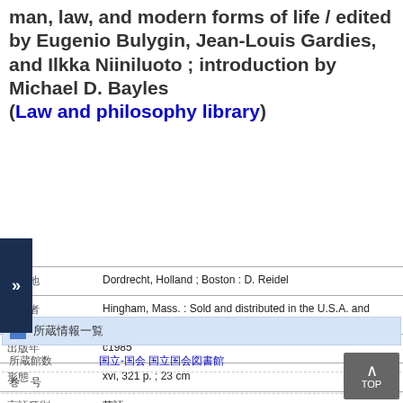man, law, and modern forms of life / edited by Eugenio Bulygin, Jean-Louis Gardies, and Ilkka Niiniluoto ; introduction by Michael D. Bayles (Law and philosophy library)
| field | value |
| --- | --- |
| 出版地 | Dordrecht, Holland ; Boston : D. Reidel |
| 出版者 | Hingham, Mass. : Sold and distributed in the U.S.A. and Canada by Kluwer Academic Publishers |
| 出版年 | c1985 |
| 形態 | xvi, 321 p. ; 23 cm |
| 言語種別 | 英語 |
| 書誌ID | 2003496742 |
| NCID | BA00371593 CiNii |
所蔵情報一覧
所蔵館数
国立-国会 国立国会図書館
巻 号